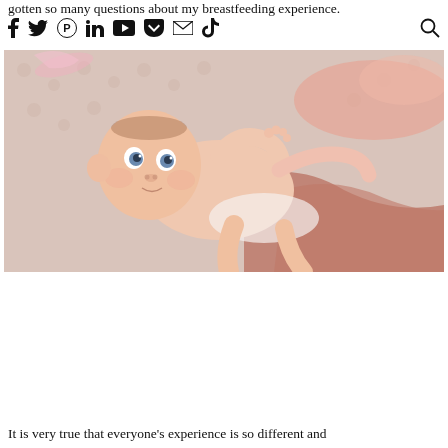gotten so many questions about my breastfeeding experience.
f  t  pinterest  in  youtube  pocket  mail  tiktok  [search]
[Figure (photo): A newborn baby lying on a light pink/beige textured blanket, looking toward the camera with wide eyes, arms slightly raised, with a dusty rose/mauve fabric wrap nearby and pink accents in the background.]
It is very true that everyone's experience is so different and